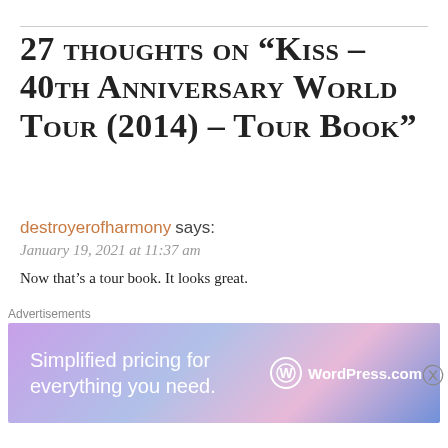27 thoughts on “Kiss – 40th Anniversary World Tour (2014) – Tour Book”
destroyerofharmony says:
January 19, 2021 at 11:37 am
Now that’s a tour book. It looks great.
★ Liked by 1 person
REPLY
2loud2oldmusic says:
[Figure (screenshot): WordPress.com advertisement banner: 'Simplified pricing for everything you need.' with WordPress.com logo on gradient purple/blue background]